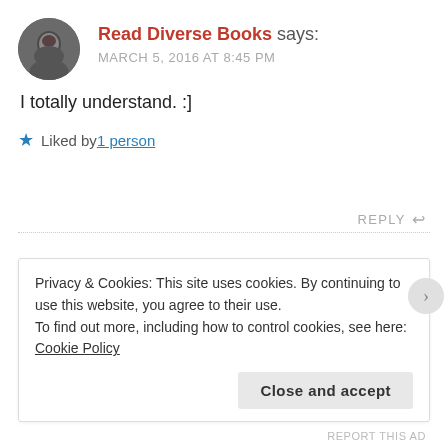[Figure (photo): Round avatar photo of a person, dark tones, profile image of Read Diverse Books commenter]
Read Diverse Books says:
MARCH 5, 2016 AT 8:45 PM
I totally understand. :]
★ Liked by 1 person
REPLY ↩
Privacy & Cookies: This site uses cookies. By continuing to use this website, you agree to their use.
To find out more, including how to control cookies, see here: Cookie Policy
Close and accept
REPORT THIS AD